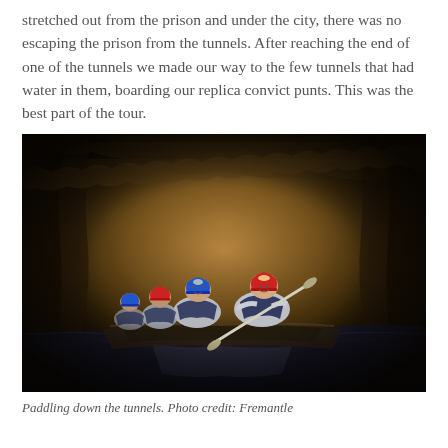stretched out from the prison and under the city, there was no escaping the prison from the tunnels. After reaching the end of one of the tunnels we made our way to the few tunnels that had water in them, boarding our replica convict punts. This was the best part of the tour.
[Figure (photo): People wearing helmets and life vests paddling replica convict punts through a dark, narrow underground stone tunnel with water on the floor.]
Paddling down the tunnels. Photo credit: Fremantle